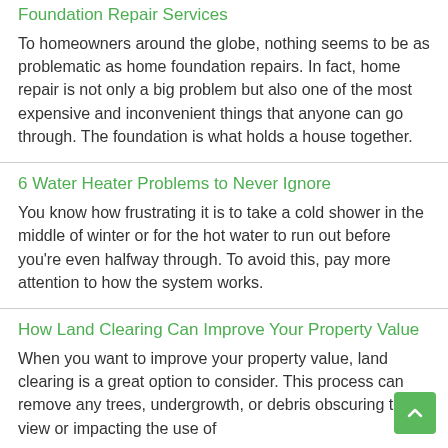Foundation Repair Services
To homeowners around the globe, nothing seems to be as problematic as home foundation repairs. In fact, home repair is not only a big problem but also one of the most expensive and inconvenient things that anyone can go through. The foundation is what holds a house together.
6 Water Heater Problems to Never Ignore
You know how frustrating it is to take a cold shower in the middle of winter or for the hot water to run out before you're even halfway through. To avoid this, pay more attention to how the system works.
How Land Clearing Can Improve Your Property Value
When you want to improve your property value, land clearing is a great option to consider. This process can remove any trees, undergrowth, or debris obscuring the view or impacting the use of